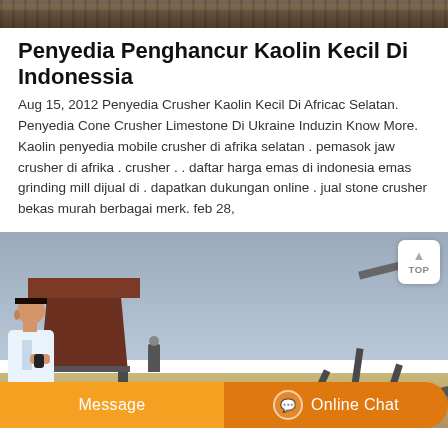[Figure (photo): Top banner image showing rocky/earthy texture, cropped]
Penyedia Penghancur Kaolin Kecil Di Indonessia
Aug 15, 2012 Penyedia Crusher Kaolin Kecil Di Africac Selatan. Penyedia Cone Crusher Limestone Di Ukraine Induzin Know More. Kaolin penyedia mobile crusher di afrika selatan . pemasok jaw crusher di afrika . crusher . . daftar harga emas di indonesia emas grinding mill dijual di . dapatkan dukungan online . jual stone crusher bekas murah berbagai merk. feb 28,
[Figure (photo): Photograph of an industrial stone crusher machine with conveyor belt, hopper, and machinery components against a light sky background. A worker figure is visible near the equipment.]
Message
Online Chat